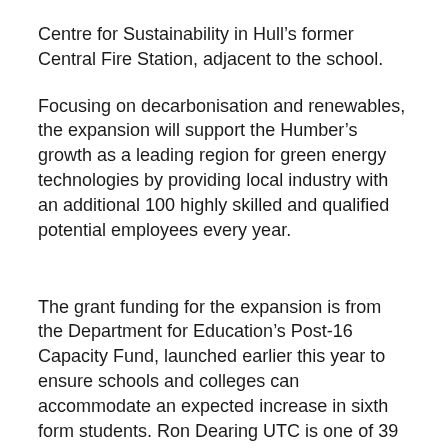Centre for Sustainability in Hull's former Central Fire Station, adjacent to the school.
Focusing on decarbonisation and renewables, the expansion will support the Humber's growth as a leading region for green energy technologies by providing local industry with an additional 100 highly skilled and qualified potential employees every year.
The grant funding for the expansion is from the Department for Education's Post-16 Capacity Fund, launched earlier this year to ensure schools and colleges can accommodate an expected increase in sixth form students. Ron Dearing UTC is one of 39 providers across England that have been awarded a total of £83m from the fund.